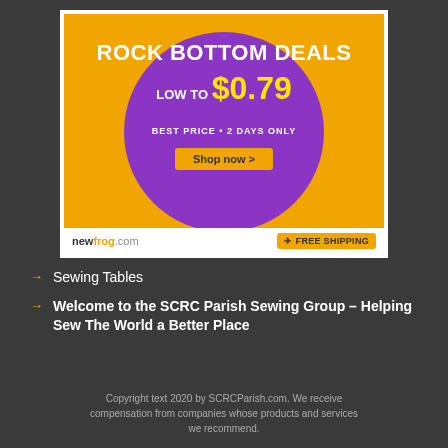[Figure (infographic): Newfrog.com advertisement banner: orange background with purple circle, text 'ROCK BOTTOM DEALS LOW TO $0.79 BEST PRICE • 2 DAYS ONLY', Shop now button, free shipping badge]
Sewing Tables
Welcome to the SCRC Parish Sewing Group – Helping Sew The World a Better Place
Copyright text 2020 by SCRCParish.com. We receive compensation from companies whose products and services we recommend.